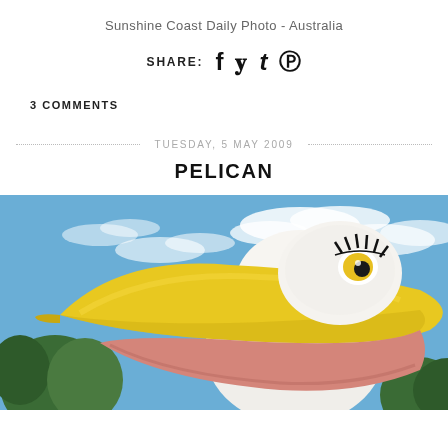Sunshine Coast Daily Photo - Australia
SHARE: [Facebook] [Twitter] [Tumblr] [Pinterest]
3 COMMENTS
TUESDAY, 5 MAY 2009
PELICAN
[Figure (photo): Close-up photo of a large cartoon/sculpture pelican with a yellow beak, white head, black eyelashes, and yellow eye, against a blue sky with white clouds and green trees in the background.]